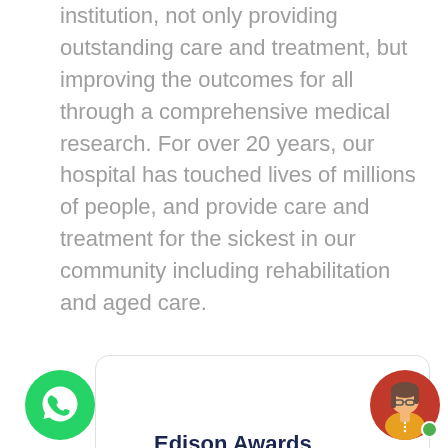institution, not only providing outstanding care and treatment, but improving the outcomes for all through a comprehensive medical research. For over 20 years, our hospital has touched lives of millions of people, and provide care and treatment for the sickest in our community including rehabilitation and aged care.
Edison Awards
Honoring excellence in innovation
[Figure (illustration): WhatsApp chat button (green circle with phone handset icon)]
[Figure (illustration): Avatar of a woman with glasses and red background, with a green online indicator dot]